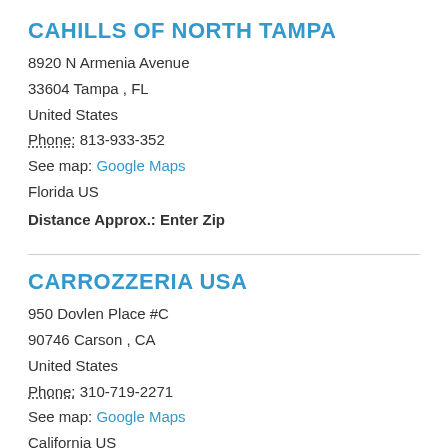CAHILLS OF NORTH TAMPA
8920 N Armenia Avenue
33604 Tampa , FL
United States
Phone: 813-933-352
See map: Google Maps
Florida US
Distance Approx.: Enter Zip
CARROZZERIA USA
950 Dovlen Place #C
90746 Carson , CA
United States
Phone: 310-719-2271
See map: Google Maps
California US
Distance Approx.: Enter Zip
CATALYST REACTION TUNING
751 Laurel Street Box 115
94070 San Carlos , CA
United States